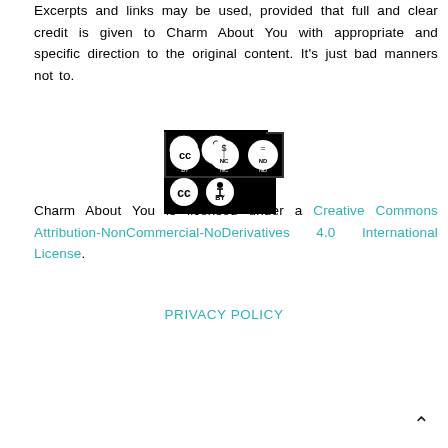Excerpts and links may be used, provided that full and clear credit is given to Charm About You with appropriate and specific direction to the original content. It's just bad manners not to.
[Figure (logo): Creative Commons BY NC ND license badge]
Charm About You is licensed under a Creative Commons Attribution-NonCommercial-NoDerivatives 4.0 International License.
PRIVACY POLICY
^